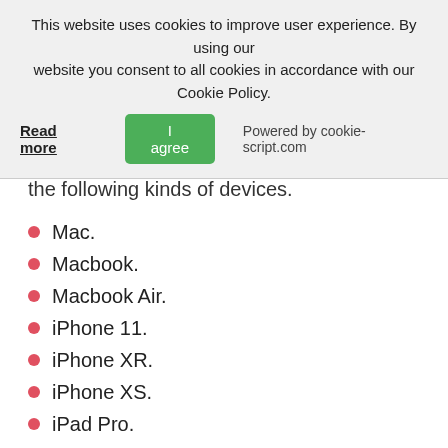This website uses cookies to improve user experience. By using our website you consent to all cookies in accordance with our Cookie Policy.
Read more | I agree | Powered by cookie-script.com
the following kinds of devices.
Mac.
Macbook.
Macbook Air.
iPhone 11.
iPhone XR.
iPhone XS.
iPad Pro.
Usually, brand-new messages by the Schedule infection show up in the calendar every couple of hours, which could be really annoying. When it comes to the messages, most of the times, they try to convince you that you must download and install a system cleaner that will eliminate